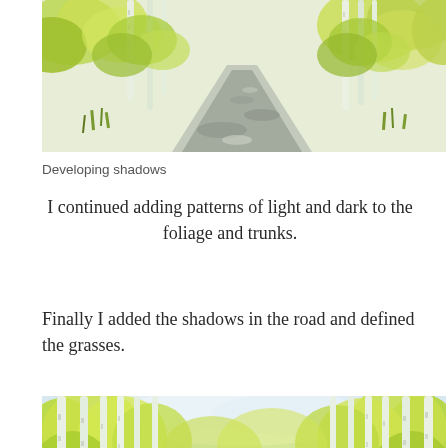[Figure (illustration): Watercolor painting of a forest road with birch trees and foliage, showing developing shadows stage. Road curves through green trees with white birch trunks.]
Developing shadows
I continued adding patterns of light and dark to the foliage and trunks.
Finally I added the shadows in the road and defined the grasses.
[Figure (illustration): Watercolor painting of a birch tree forest road, final stage with completed shadows on road and defined grasses. Bright yellow-green foliage with white birch trunks lining a path under a blue sky.]